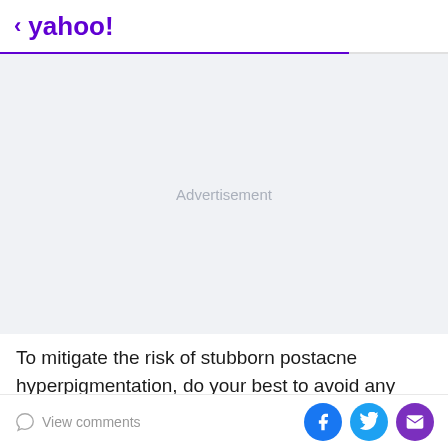< yahoo!
[Figure (other): Advertisement placeholder area with light gray background and 'Advertisement' label in center]
To mitigate the risk of stubborn postacne hyperpigmentation, do your best to avoid any trauma to the area by not picking in the first place.
View comments | Facebook share | Twitter share | Email share